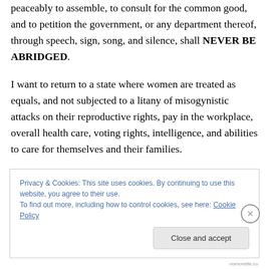peaceably to assemble, to consult for the common good, and to petition the government, or any department thereof, through speech, sign, song, and silence, shall NEVER BE ABRIDGED.
I want to return to a state where women are treated as equals, and not subjected to a litany of misogynistic attacks on their reproductive rights, pay in the workplace, overall health care, voting rights, intelligence, and abilities to care for themselves and their families.
Privacy & Cookies: This site uses cookies. By continuing to use this website, you agree to their use. To find out more, including how to control cookies, see here: Cookie Policy